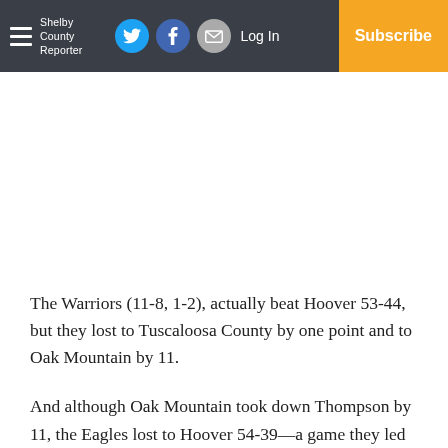Shelby County Reporter — Log In | Subscribe
The Warriors (11-8, 1-2), actually beat Hoover 53-44, but they lost to Tuscaloosa County by one point and to Oak Mountain by 11.
And although Oak Mountain took down Thompson by 11, the Eagles lost to Hoover 54-39—a game they led at the half—and to Tuscaloosa County by five.